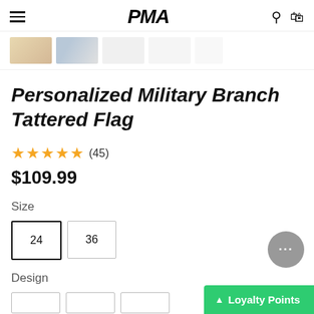PMA
[Figure (photo): Product thumbnail images of tattered flag variants shown in a horizontal strip]
Personalized Military Branch Tattered Flag
★★★★★ (45)
$109.99
Size
24
36
Design